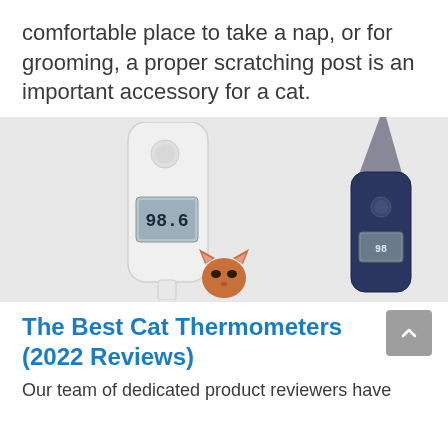comfortable place to take a nap, or for grooming, a proper scratching post is an important accessory for a cat.
[Figure (photo): Two thermometers shown side by side — a white digital thermometer on the left showing a temperature display reading 98.6, and a dark navy blue/grey digital thermometer on the right. A small cat head (reddish-orange colored) is visible at the bottom center between the thermometers.]
The Best Cat Thermometers (2022 Reviews)
Our team of dedicated product reviewers have